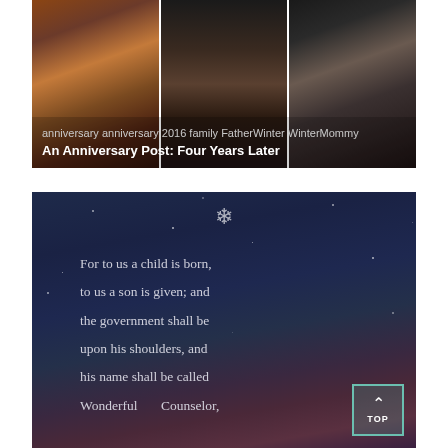[Figure (photo): Three wedding/family photos side by side in a dark card. Tags shown: anniversary anniversary 2016 family FatherWinter WinterMommy. Title: An Anniversary Post: Four Years Later]
[Figure (photo): Dark night-sky themed card with snowflake icon and scripture text: 'For to us a child is born, to us a son is given; and the government shall be upon his shoulders, and his name shall be called Wonderful Counselor.' A teal-bordered TOP button in bottom right.]